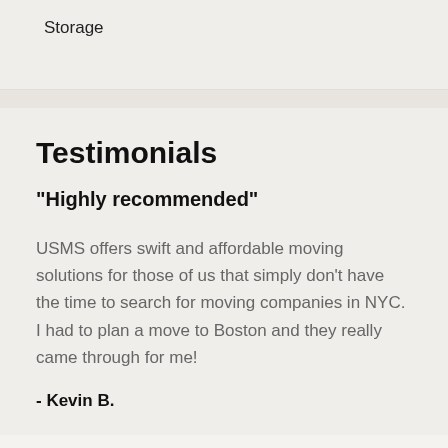Storage
Testimonials
"Highly recommended"
USMS offers swift and affordable moving solutions for those of us that simply don't have the time to search for moving companies in NYC. I had to plan a move to Boston and they really came through for me!
- Kevin B.